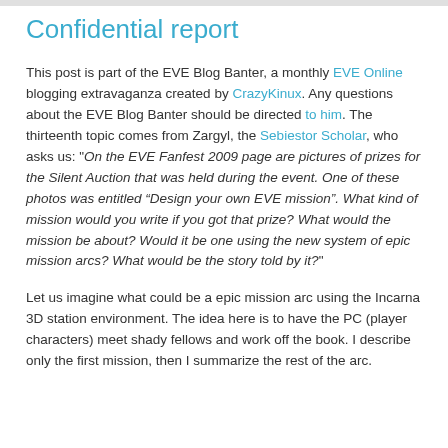Confidential report
This post is part of the EVE Blog Banter, a monthly EVE Online blogging extravaganza created by CrazyKinux. Any questions about the EVE Blog Banter should be directed to him. The thirteenth topic comes from Zargyl, the Sebiestor Scholar, who asks us: "On the EVE Fanfest 2009 page are pictures of prizes for the Silent Auction that was held during the event. One of these photos was entitled “Design your own EVE mission”. What kind of mission would you write if you got that prize? What would the mission be about? Would it be one using the new system of epic mission arcs? What would be the story told by it?"
Let us imagine what could be a epic mission arc using the Incarna 3D station environment. The idea here is to have the PC (player characters) meet shady fellows and work off the book. I describe only the first mission, then I summarize the rest of the arc.